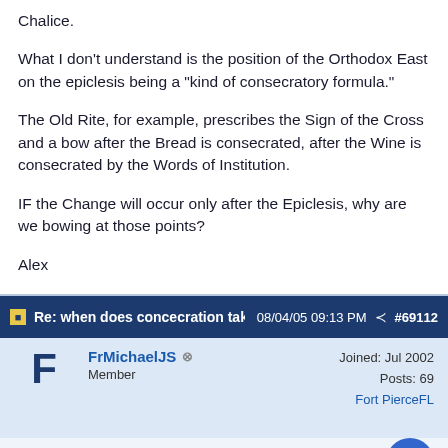Chalice.
What I don't understand is the position of the Orthodox East on the epiclesis being a "kind of consecratory formula."
The Old Rite, for example, prescribes the Sign of the Cross and a bow after the Bread is consecrated, after the Wine is consecrated by the Words of Institution.
IF the Change will occur only after the Epiclesis, why are we bowing at those points?
Alex
Re: when does concecration take ...   08/04/05 09:13 PM   #69112
FrMichaelJS  Member  Joined: Jul 2002  Posts: 69  Fort PierceFL
Father Michael wrote:
The actual state of Orthodox theology must be characterized by